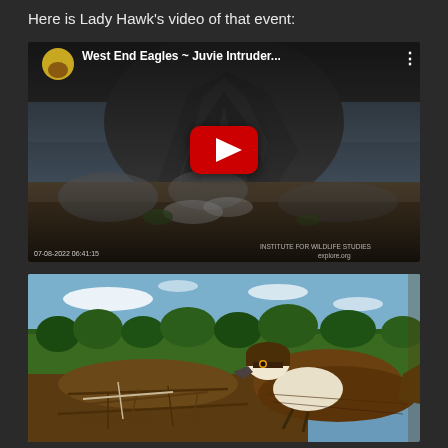Here is Lady Hawk's video of that event:
[Figure (screenshot): YouTube video thumbnail showing 'West End Eagles ~ Juvie Intruder...' with a rocky coastal scene and red play button overlay. Timestamp 07-08-2022, Institute for Wildlife Studies / explore.org watermark.]
[Figure (photo): Photo of an osprey bird perched on a nest made of sticks, with green forest trees and blue sky in the background.]